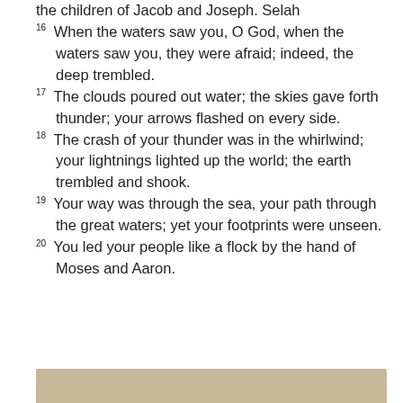the children of Jacob and Joseph. Selah
16 When the waters saw you, O God, when the waters saw you, they were afraid; indeed, the deep trembled.
17 The clouds poured out water; the skies gave forth thunder; your arrows flashed on every side.
18 The crash of your thunder was in the whirlwind; your lightnings lighted up the world; the earth trembled and shook.
19 Your way was through the sea, your path through the great waters; yet your footprints were unseen.
20 You led your people like a flock by the hand of Moses and Aaron.
[Figure (other): Tan/beige colored bar or decorative element at the bottom of the page]